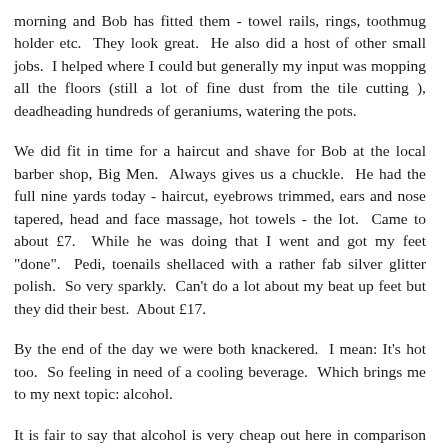morning and Bob has fitted them - towel rails, rings, toothmug holder etc. They look great. He also did a host of other small jobs. I helped where I could but generally my input was mopping all the floors (still a lot of fine dust from the tile cutting ), deadheading hundreds of geraniums, watering the pots.
We did fit in time for a haircut and shave for Bob at the local barber shop, Big Men. Always gives us a chuckle. He had the full nine yards today - haircut, eyebrows trimmed, ears and nose tapered, head and face massage, hot towels - the lot. Came to about £7. While he was doing that I went and got my feet "done". Pedi, toenails shellaced with a rather fab silver glitter polish. So very sparkly. Can't do a lot about my beat up feet but they did their best. About £17.
By the end of the day we were both knackered. I mean: It's hot too. So feeling in need of a cooling beverage. Which brings me to my next topic: alcohol.
It is fair to say that alcohol is very cheap out here in comparison to the UK. You can get pretty much anything you want. The local beer is